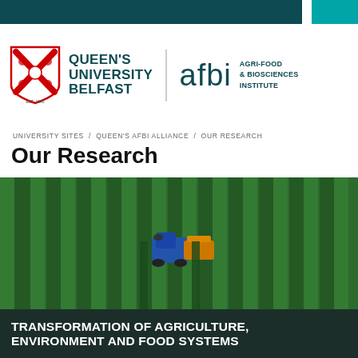[Figure (logo): Queen's University Belfast logo with shield crest and AFBI Agri-Food & Biosciences Institute logo on white header bar]
UNIVERSITY SITES / QUEEN'S AFBI ALLIANCE / OUR RESEARCH
Our Research
[Figure (photo): Aerial view of a tractor harvesting green crop rows in a large agricultural field]
TRANSFORMATION OF AGRICULTURE, ENVIRONMENT AND FOOD SYSTEMS